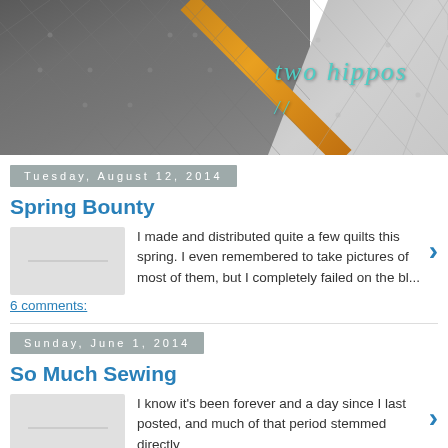[Figure (photo): Blog header banner showing a quilted fabric with dark gray/charcoal stitched sections and a gold/orange diagonal stripe, transitioning to silver/white quilted fabric. Text 'two hippos' in teal italic script overlaid on the right side.]
two hippos
Tuesday, August 12, 2014
Spring Bounty
I made and distributed quite a few quilts this spring. I even remembered to take pictures of most of them, but I completely failed on the bl...
6 comments:
Sunday, June 1, 2014
So Much Sewing
I know it's been forever and a day since I last posted, and much of that period stemmed directly from the lack of sewing time. Between E...